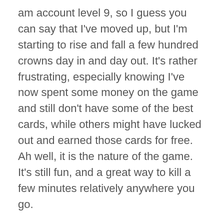am account level 9, so I guess you can say that I've moved up, but I'm starting to rise and fall a few hundred crowns day in and day out. It's rather frustrating, especially knowing I've now spent some money on the game and still don't have some of the best cards, while others might have lucked out and earned those cards for free. Ah well, it is the nature of the game. It's still fun, and a great way to kill a few minutes relatively anywhere you go.
Lastly, I downloaded the new games from my Humble Monthly subscription. As usual, there were some extra copies of games I already own, some games I had zero interest in, and that's about it. I did pay early for next month though, as Total War: Warhammer was the early unlock, and that's a game I've wanted for a while but was waiting to go on sale. $12 for it is a great deal, and it's not really all